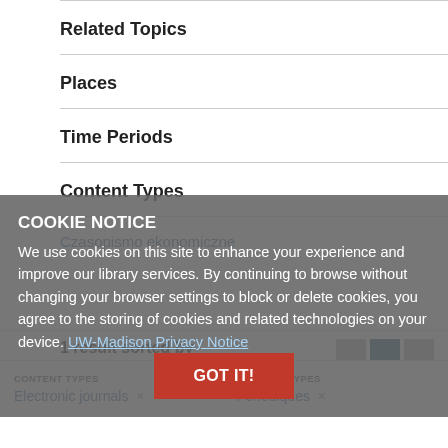Related Topics
Places
Time Periods
Content Types
Czasopismo ekonomiczne
COOKIE NOTICE
We use cookies on this site to enhance your experience and improve our library services. By continuing to browse without changing your browser settings to block or delete cookies, you agree to the storing of cookies and related technologies on your device. UW-Madison Privacy Notice
1 result sorted by
Relevancy
GOT IT!
CONTENT TYPES
Electronic journals ×
CONTENT TYPES
Périodiques ×